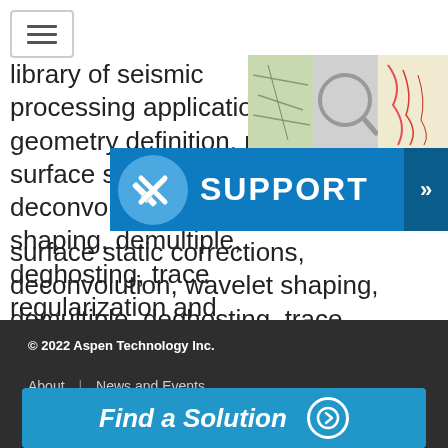[Figure (screenshot): Hamburger/menu icon button in top left corner]
library of seismic processing applications for geometry definition, near surface static corrections, deconvolution, wavelet shaping, demultiple, deghosting, trace regularization and interpolation, migration, noise suppression and signal enhancement; enabling the adaptive construction of data dependent
[Figure (photo): Seismic/geological maps and images in top right corner]
[Figure (infographic): SUPPORT banner with wrench/screwdriver icon circle and arrow button]
© 2022 Aspen Technology Inc.
About  |  News and Events
[Figure (infographic): Find a Solution call-to-action button with right arrow circle]